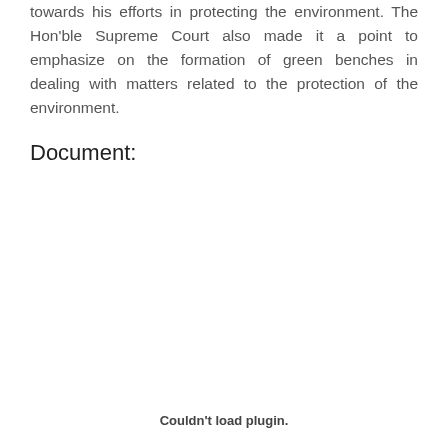towards his efforts in protecting the environment. The Hon'ble Supreme Court also made it a point to emphasize on the formation of green benches in dealing with matters related to the protection of the environment.
Document:
Couldn't load plugin.